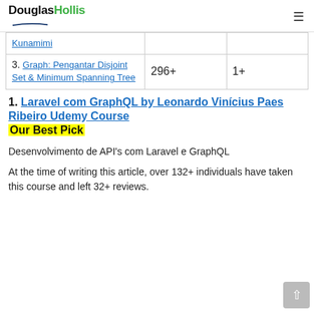DouglasHollis
|  |  |  |
| --- | --- | --- |
| Kunamimi |  |  |
| 3. Graph: Pengantar Disjoint Set & Minimum Spanning Tree | 296+ | 1+ |
1. Laravel com GraphQL by Leonardo Vinícius Paes Ribeiro Udemy Course Our Best Pick
Desenvolvimento de API's com Laravel e GraphQL
At the time of writing this article, over 132+ individuals have taken this course and left 32+ reviews.